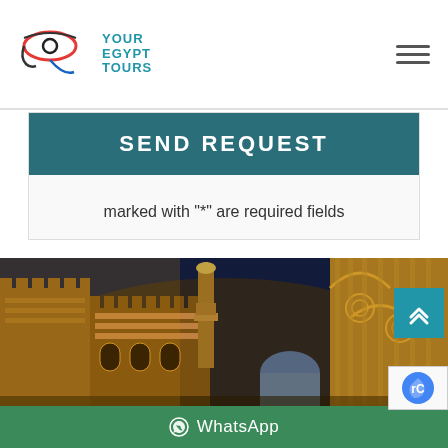Your Egypt Tours
SEND REQUEST
marked with "*" are required fields
[Figure (photo): Night-time photo of illuminated Islamic architecture in Cairo, Egypt, showing ornate mosque facades and a minaret against a dark blue sky]
WhatsApp